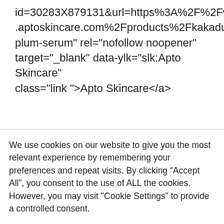id=30283X879131&url=https%3A%2F%2Fwww.aptoskincare.com%2Fproducts%2Fkakadu-plum-serum" rel="nofollow noopener" target="_blank" data-ylk="slk:Apto Skincare" class="link ">Apto Skincare</a>
We use cookies on our website to give you the most relevant experience by remembering your preferences and repeat visits. By clicking “Accept All”, you consent to the use of ALL the cookies. However, you may visit "Cookie Settings" to provide a controlled consent.